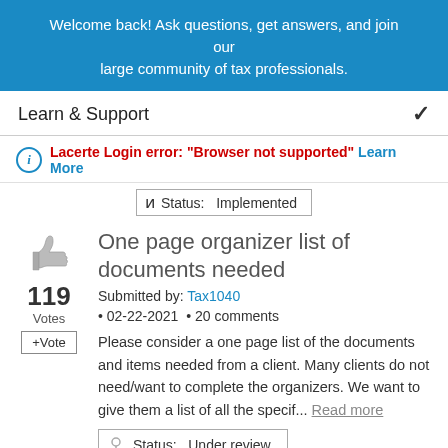Welcome back! Ask questions, get answers, and join our large community of tax professionals.
Learn & Support
Lacerte Login error: "Browser not supported" Learn More
Status: Implemented
One page organizer list of documents needed
Submitted by: Tax1040 • 02-22-2021 • 20 comments
Please consider a one page list of the documents and items needed from a client. Many clients do not need/want to complete the organizers. We want to give them a list of all the specif... Read more
Status: Under review